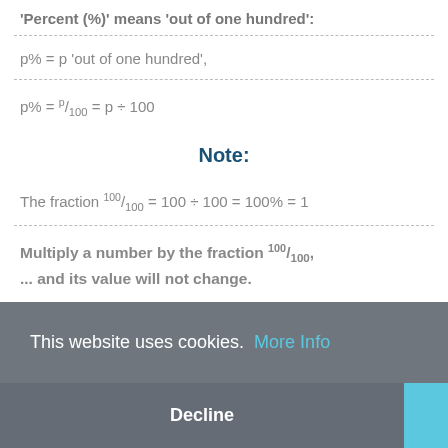'Percent (%)' means 'out of one hundred':
Note:
Multiply a number by the fraction 100/100, ... and its value will not change.
This website uses cookies.  More Info
Decline
Accept